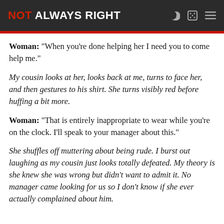NOT ALWAYS RIGHT
Woman: “When you’re done helping her I need you to come help me.”
My cousin looks at her, looks back at me, turns to face her, and then gestures to his shirt. She turns visibly red before huffing a bit more.
Woman: “That is entirely inappropriate to wear while you’re on the clock. I’ll speak to your manager about this.”
She shuffles off muttering about being rude. I burst out laughing as my cousin just looks totally defeated. My theory is she knew she was wrong but didn’t want to admit it. No manager came looking for us so I don’t know if she ever actually complained about him.